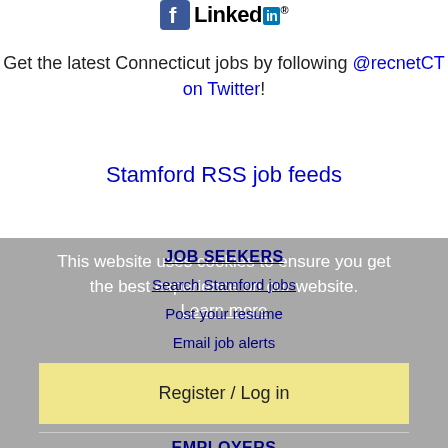[Figure (logo): Facebook and LinkedIn logos/icons at top of page]
Get the latest Connecticut jobs by following @recnetCT on Twitter!
Stamford RSS job feeds
This website uses cookies to ensure you get the best experience on our website.
Learn more
JOB SEEKERS
Search Stamford jobs
Post your resume
Email job alerts
Register / Log in
EMPLOYERS